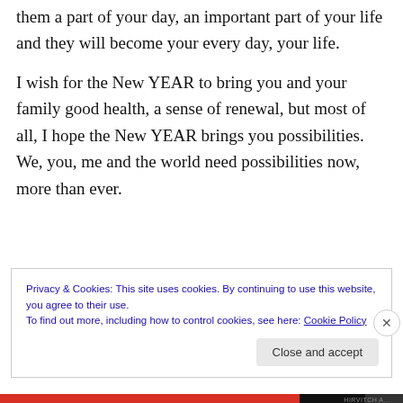them a part of your day, an important part of your life and they will become your every day, your life.
I wish for the New YEAR to bring you and your family good health, a sense of renewal, but most of all, I hope the New YEAR brings you possibilities. We, you, me and the world need possibilities now, more than ever.
Privacy & Cookies: This site uses cookies. By continuing to use this website, you agree to their use. To find out more, including how to control cookies, see here: Cookie Policy